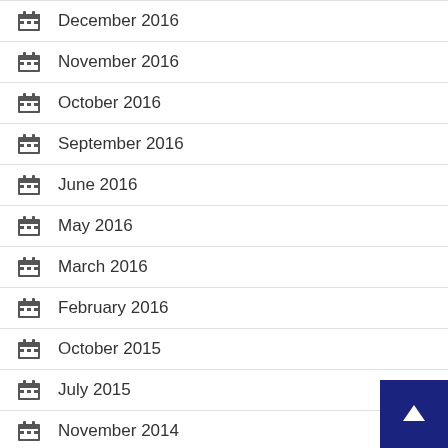December 2016
November 2016
October 2016
September 2016
June 2016
May 2016
March 2016
February 2016
October 2015
July 2015
November 2014
July 2014
October 2013